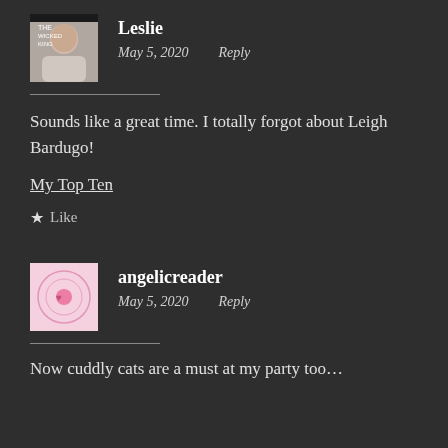[Figure (photo): Avatar photo of Leslie holding a book, small square image]
Leslie
May 5, 2020    Reply
Sounds like a great time. I totally forgot about Leigh Bardugo!
My Top Ten
★ Like
[Figure (logo): Angelicreader logo - pink background with circular design]
angelicreader
May 5, 2020    Reply
Now cuddly cats are a must at my party too…